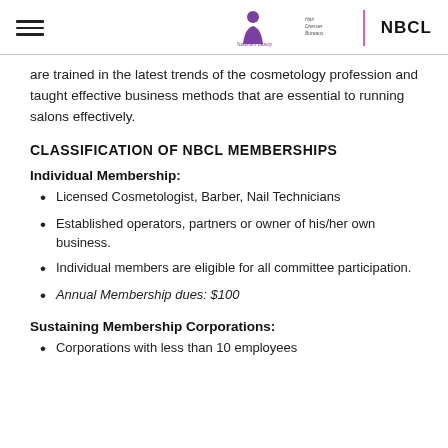National Beauty Cosmetology League | Hair Dresser Bureaus | NBCL
are trained in the latest trends of the cosmetology profession and taught effective business methods that are essential to running salons effectively.
CLASSIFICATION OF NBCL MEMBERSHIPS
Individual Membership:
Licensed Cosmetologist, Barber, Nail Technicians
Established operators, partners or owner of his/her own business.
Individual members are eligible for all committee participation.
Annual Membership dues: $100
Sustaining Membership Corporations:
Corporations with less than 10 employees